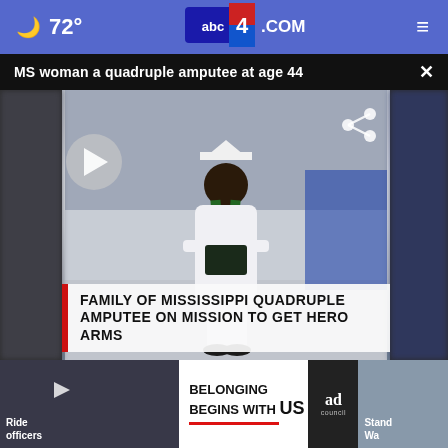🌙 72° abc4.com ≡
MS woman a quadruple amputee at age 44
[Figure (screenshot): Video thumbnail of a person in a white graduation gown and cap holding a diploma, with blurred side panels. Play button visible. Share icon top right. Lower banner reads: FAMILY OF MISSISSIPPI QUADRUPLE AMPUTEE ON MISSION TO GET HERO ARMS]
FAMILY OF MISSISSIPPI QUADRUPLE AMPUTEE ON MISSION TO GET HERO ARMS
[Figure (screenshot): Thumbnail strip with three partially visible story cards at the bottom of the screen]
Ride
officers
Accident
Her Journe
Stand
Wa
[Figure (infographic): Ad banner: BELONGING BEGINS WITH US, with Ad Council badge]
BELONGING BEGINS WITH US